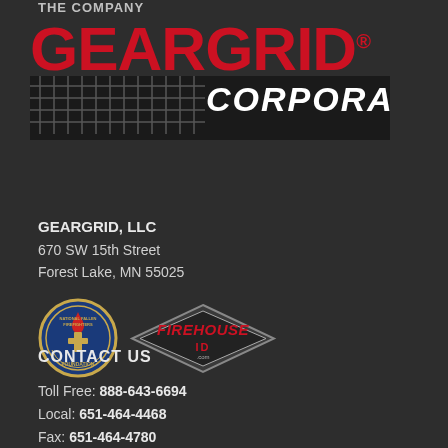THE COMPANY
[Figure (logo): GEARGRID Corporation logo — red GEARGRID text with registered trademark symbol above a dark banner showing CORPORATION in bold white italic text, with a grid/mesh graphic on the left side of the banner]
GEARGRID, LLC
670 SW 15th Street
Forest Lake, MN 55025
[Figure (logo): Two logos: National Fallen Firefighters Foundation circular badge logo on the left, and Firehouse-ID diamond-shaped logo with red text on the right]
CONTACT US
Toll Free: 888-643-6694
Local: 651-464-4468
Fax: 651-464-4780